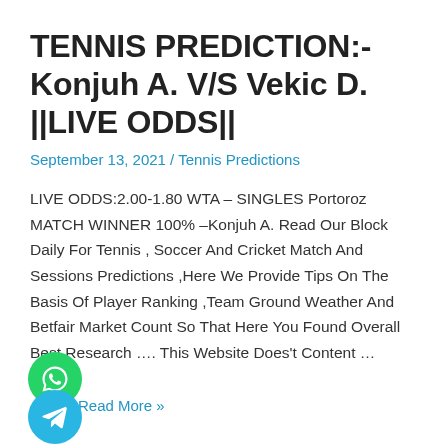TENNIS PREDICTION:- Konjuh A. V/S Vekic D. ||LIVE ODDS||
September 13, 2021 / Tennis Predictions
LIVE ODDS:2.00-1.80 WTA – SINGLES Portoroz MATCH WINNER 100% –Konjuh A. Read Our Block Daily For Tennis , Soccer And Cricket Match And Sessions Predictions ,Here We Provide Tips On The Basis Of Player Ranking ,Team Ground Weather And Betfair Market Count So That Here You Found Overall Best Research …. This Website Does't Content …
Read More »